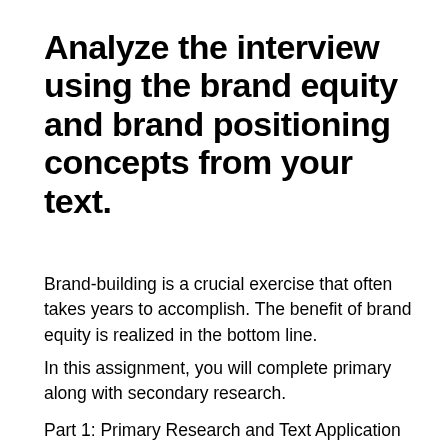Analyze the interview using the brand equity and brand positioning concepts from your text.
Brand-building is a crucial exercise that often takes years to accomplish. The benefit of brand equity is realized in the bottom line.
In this assignment, you will complete primary along with secondary research.
Part 1: Primary Research and Text Application